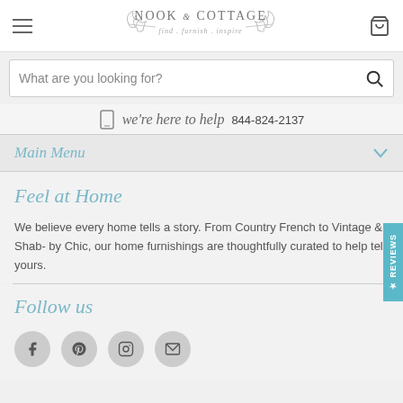Nook & Cottage — find . furnish . inspire
What are you looking for?
we're here to help 844-824-2137
Main Menu
Feel at Home
We believe every home tells a story. From Country French to Vintage & Shabby Chic, our home furnishings are thoughtfully curated to help tell yours.
Follow us
[Figure (illustration): Four social media icon buttons in circular grey backgrounds: Facebook (f), Pinterest (P), Instagram (camera), Email (envelope)]